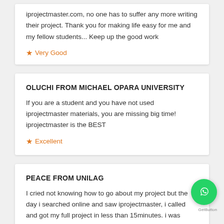iprojectmaster.com, no one has to suffer any more writing their project. Thank you for making life easy for me and my fellow students... Keep up the good work
★ Very Good
OLUCHI FROM MICHAEL OPARA UNIVERSITY
If you are a student and you have not used iprojectmaster materials, you are missing big time! iprojectmaster is the BEST
★ Excellent
PEACE FROM UNILAG
I cried not knowing how to go about my project but the day i searched online and saw iprojectmaster, i called and got my full project in less than 15minutes. i was shocked!